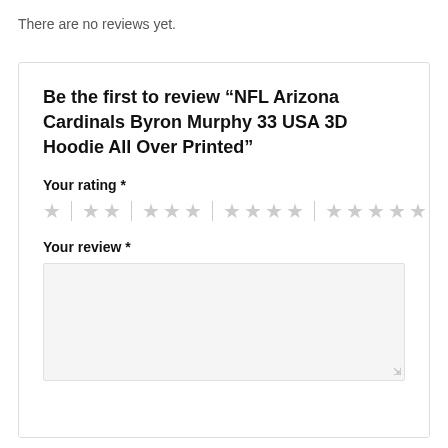There are no reviews yet.
Be the first to review “NFL Arizona Cardinals Byron Murphy 33 USA 3D Hoodie All Over Printed”
Your rating *
Your review *